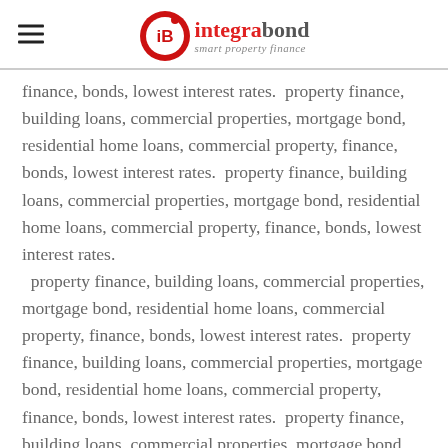integrabond smart property finance
finance, bonds, lowest interest rates.  property finance, building loans, commercial properties, mortgage bond, residential home loans, commercial property, finance, bonds, lowest interest rates.  property finance, building loans, commercial properties, mortgage bond, residential home loans, commercial property, finance, bonds, lowest interest rates.  property finance, building loans, commercial properties, mortgage bond, residential home loans, commercial property, finance, bonds, lowest interest rates.  property finance, building loans, commercial properties, mortgage bond, residential home loans, commercial property, finance, bonds, lowest interest rates.  property finance, building loans, commercial properties, mortgage bond, residential home loans, commercial property, finance, bonds, lowest interest rates.  property finance, building loans, commercial properties, mortgage bond, residential home loans, commercial property, finance, bonds, lowest interest rates.  property finance, building loans, commercial properties, mortgage bond, residential home loans, commercial property, finance, bonds, lowest interest rates.  property finance, building loans, commercial properties, mortgage bond, residential home loans, commercial property,